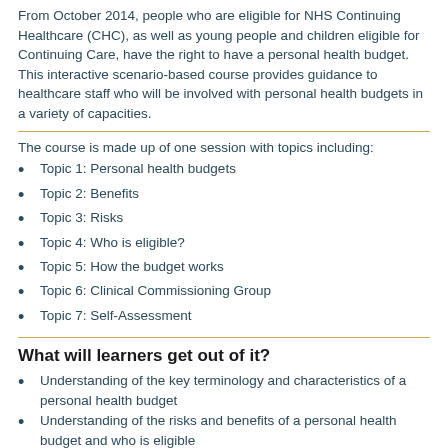From October 2014, people who are eligible for NHS Continuing Healthcare (CHC), as well as young people and children eligible for Continuing Care, have the right to have a personal health budget. This interactive scenario-based course provides guidance to healthcare staff who will be involved with personal health budgets in a variety of capacities.
The course is made up of one session with topics including:
Topic 1: Personal health budgets
Topic 2: Benefits
Topic 3: Risks
Topic 4: Who is eligible?
Topic 5: How the budget works
Topic 6: Clinical Commissioning Group
Topic 7: Self-Assessment
What will learners get out of it?
Understanding of the key terminology and characteristics of a personal health budget
Understanding of the risks and benefits of a personal health budget and who is eligible